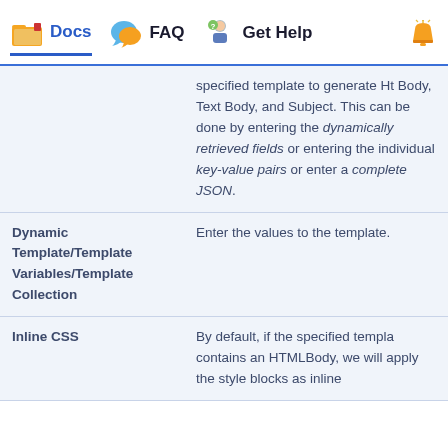Docs  FAQ  Get Help
|  | specified template to generate Html Body, Text Body, and Subject. This can be done by entering the dynamically retrieved fields or entering the individual key-value pairs or enter a complete JSON. |
| Dynamic Template/Template Variables/Template Collection | Enter the values to the template. |
| Inline CSS | By default, if the specified template contains an HTMLBody, we will apply the style blocks as inline |